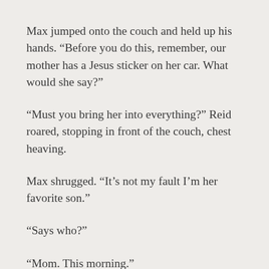Max jumped onto the couch and held up his hands. “Before you do this, remember, our mother has a Jesus sticker on her car. What would she say?”
“Must you bring her into everything?” Reid roared, stopping in front of the couch, chest heaving.
Max shrugged. “It’s not my fault I’m her favorite son.”
“Says who?”
“Mom. This morning.”